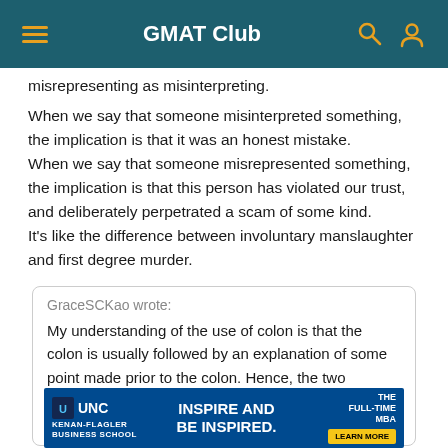GMAT Club
misrepresenting as misinterpreting.
When we say that someone misinterpreted something, the implication is that it was an honest mistake.
When we say that someone misrepresented something, the implication is that this person has violated our trust, and deliberately perpetrated a scam of some kind.
It's like the difference between involuntary manslaughter and first degree murder.
GraceSCKao wrote:
My understanding of the use of colon is that the colon is usually followed by an explanation of some point made prior to the colon. Hence, the two statements after the colon should both explain how the constructivists misrepresent the
[Figure (other): UNC Kenan-Flagler Business School advertisement banner: INSPIRE AND BE INSPIRED. THE FULL-TIME MBA. LEARN MORE button.]